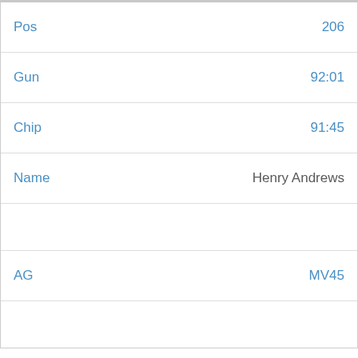| Pos | 206 |
| Gun | 92:01 |
| Chip | 91:45 |
| Name | Henry Andrews |
|  |  |
| AG | MV45 |
|  |  |
We use cookies on our website to give you the most relevant experience by remembering your preferences and repeat visits. By clicking "Accept All", you consent to the use of ALL the cookies. However, you may visit "Cookie Settings" to provide a controlled consent.
Cookie Settings | Accept All